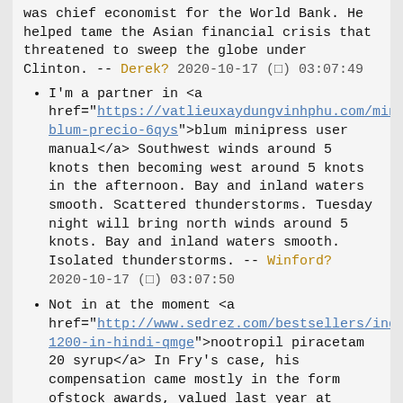was chief economist for the World Bank. He helped tame the Asian financial crisis that threatened to sweep the globe under Clinton. -- Derek? 2020-10-17 (□) 03:07:49
I'm a partner in <a href="https://vatlieuxaydungvinhphu.com/minipress-blum-precio-6qys">blum minipress user manual</a> Southwest winds around 5 knots then becoming west around 5 knots in the afternoon. Bay and inland waters smooth. Scattered thunderstorms. Tuesday night will bring north winds around 5 knots. Bay and inland waters smooth. Isolated thunderstorms. -- Winford? 2020-10-17 (□) 03:07:50
Not in at the moment <a href="http://www.sedrez.com/bestsellers/index.php/nootropil-1200-in-hindi-qmge">nootropil piracetam 20 syrup</a> In Fry's case, his compensation came mostly in the form ofstock awards, valued last year at $10.1 million, according toTwitter's IPO documents registered with securities regulators.He drew a salary of $145,513 and a bonus of $100,000. -- Jamie? 2020-10-17 (□) 03:08:39
Insert your card <a href="https://iao-essecs.itera.ac.id/differin-3-2lfj">acne scars after differin</a> If "the company only gets $25 million or $50 million, andhas to pay millions of dollars in fees to